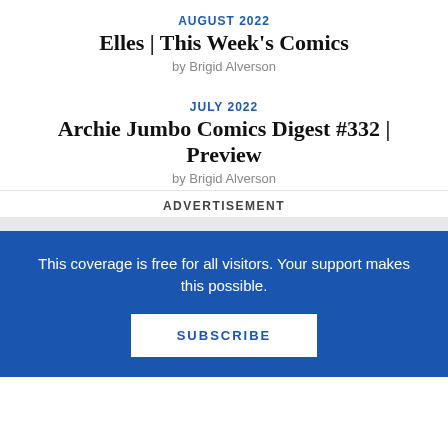AUGUST 2022
Elles | This Week's Comics
by Brigid Alverson
JULY 2022
Archie Jumbo Comics Digest #332 | Preview
by Brigid Alverson
ADVERTISEMENT
This coverage is free for all visitors. Your support makes this possible.
SUBSCRIBE